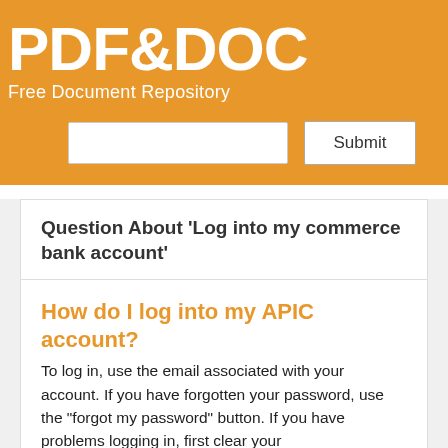PDF&DOC
Free Document Repository
Question About 'Log into my commerce bank account'
How do I log into my APIC account?
To log in, use the email associated with your account. If you have forgotten your password, use the "forgot my password" button. If you have problems logging in, first clear your